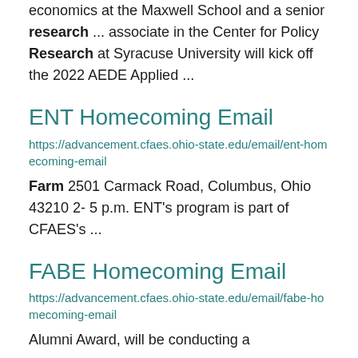economics at the Maxwell School and a senior research ... associate in the Center for Policy Research at Syracuse University will kick off the 2022 AEDE Applied ...
ENT Homecoming Email
https://advancement.cfaes.ohio-state.edu/email/ent-homecoming-email
Farm 2501 Carmack Road, Columbus, Ohio 43210 2- 5 p.m. ENT's program is part of CFAES's ...
FABE Homecoming Email
https://advancement.cfaes.ohio-state.edu/email/fabe-homecoming-email
Alumni Award, will be conducting a